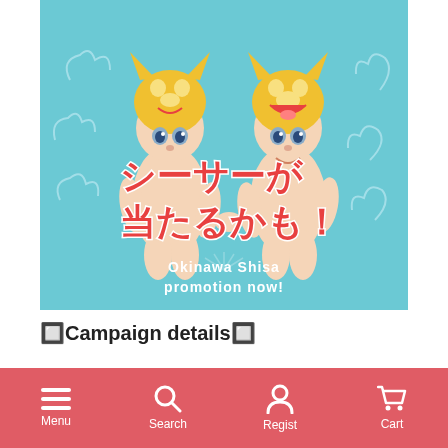[Figure (illustration): Promotional banner for Okinawa Shisa campaign featuring two Sonny Angel figurines wearing golden shisa lion-dog costumes on a light blue background with cloud decorations. Japanese text reads シーサーが当たるかも！ (You might win a Shisa!) and English text reads 'Okinawa Shisa promotion now!']
🔲Campaign details🔲
During the campaign period, if you purchase a target item from the Sonny Angel Online Store (Japan), the very popular Sonny Angel Terrace limited secret figure "Shisa" may appear randomly in your purchase.
Menu | Search | Regist | Cart